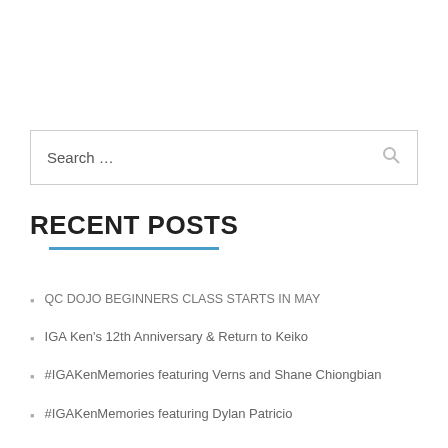[Figure (screenshot): Search box with placeholder text 'Search ...' and a search icon on the right]
RECENT POSTS
QC DOJO BEGINNERS CLASS STARTS IN MAY
IGA Ken's 12th Anniversary & Return to Keiko
#IGAKenMemories featuring Verns and Shane Chiongbian
#IGAKenMemories featuring Dylan Patricio